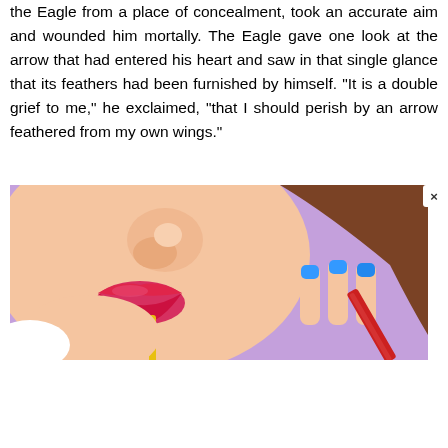the Eagle from a place of concealment, took an accurate aim and wounded him mortally. The Eagle gave one look at the arrow that had entered his heart and saw in that single glance that its feathers had been furnished by himself. "It is a double grief to me," he exclaimed, "that I should perish by an arrow feathered from my own wings."
[Figure (illustration): Close-up cartoon/digital illustration of a girl with red lipstick eating french fries, with blue painted nails holding something red, purple background, brown hair visible.]